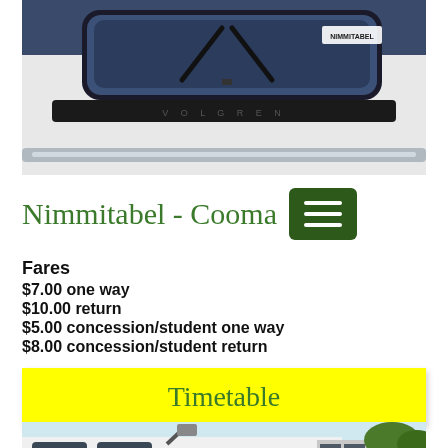[Figure (photo): Front view of a white Nimmitabel bus/coach with windshield wipers visible, against a dark background. NIMMITABEL branding sticker visible on windshield.]
Nimmitabel - Cooma
Fares
$7.00 one way
$10.00 return
$5.00 concession/student one way
$8.00 concession/student return
Timetable
[Figure (photo): Partial view of a bus exterior showing the side and door area.]